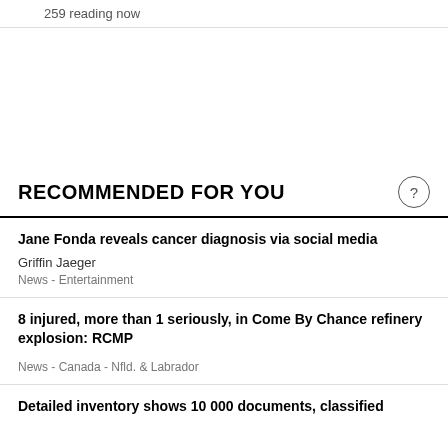259 reading now
RECOMMENDED FOR YOU
Jane Fonda reveals cancer diagnosis via social media
Griffin Jaeger
News  -  Entertainment
8 injured, more than 1 seriously, in Come By Chance refinery explosion: RCMP
News  -  Canada  -  Nfld. & Labrador
Detailed inventory shows 10 000 documents, classified